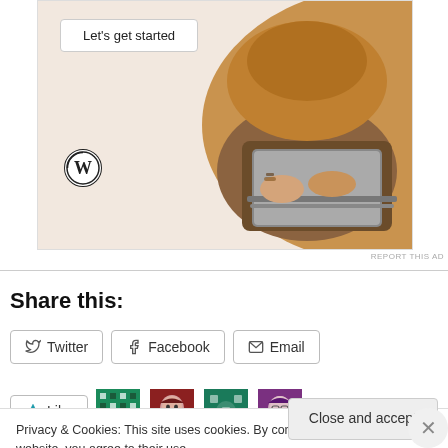[Figure (screenshot): WordPress advertisement banner with 'Let's get started' button, WordPress logo, and a person using a laptop]
REPORT THIS AD
Share this:
Twitter  Facebook  Email
Like  [avatars]
Privacy & Cookies: This site uses cookies. By continuing to use this website, you agree to their use.
To find out more, including how to control cookies, see here: Cookie Policy
Close and accept